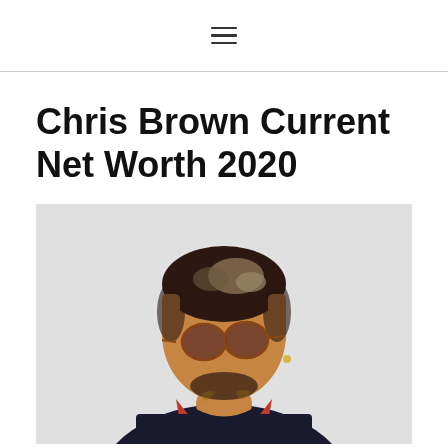≡
Chris Brown Current Net Worth 2020
[Figure (photo): Photo of a young man with blond-tipped short hair and a fade haircut, wearing round tinted sunglasses and a dark navy jacket with red trim collar, looking downward to his left. He has neck tattoos and an earring. Background is light grey.]